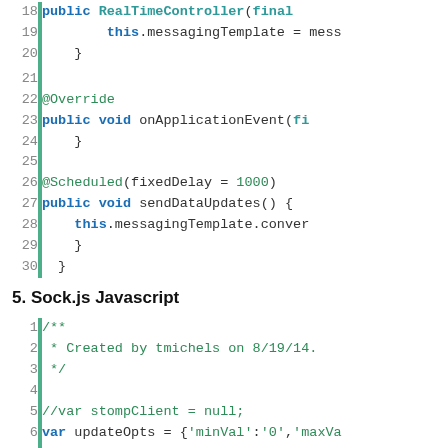[Figure (screenshot): Code block showing Java lines 18-30: constructor and methods including onApplicationEvent and sendDataUpdates with @Override and @Scheduled annotations]
5. Sock.js Javascript
[Figure (screenshot): Code block showing JavaScript lines 1-10: file header comment, var declarations including updateOpts, randomData, socket (SockJS), and client (Stomp)]